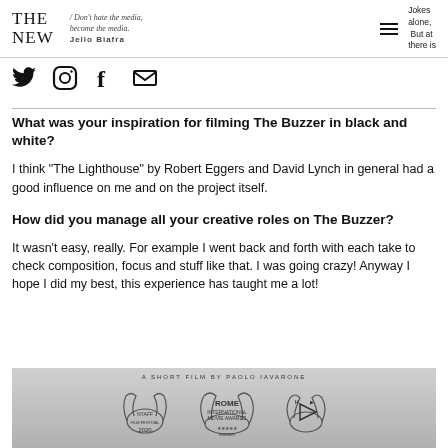THE NEW / DON'T HATE THE MEDIA, BECOME THE MEDIA. JELLO BIAFRA
Jokes alone, But at there is
[Figure (other): Social media icons: Twitter bird, Instagram camera, Facebook f, Email envelope]
What was your inspiration for filming The Buzzer in black and white?
I think "The Lighthouse" by Robert Eggers and David Lynch in general had a good influence on me and on the project itself.
How did you manage all your creative roles on The Buzzer?
It wasn't easy, really. For example I went back and forth with each take to check composition, focus and stuff like that. I was going crazy! Anyway I hope I did my best, this experience has taught me a lot!
[Figure (photo): Film poster/banner: A SHORT FILM BY PAOLO IAVARONE with Rome International Movie Awards and other festival laurels]